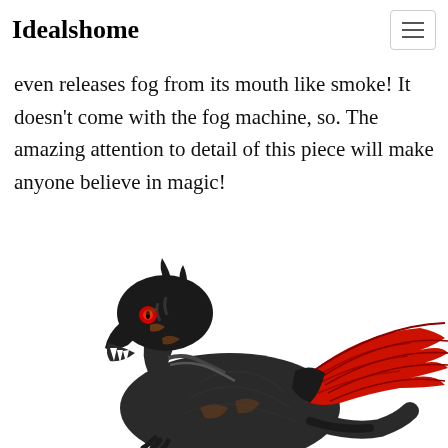Idealshome
even releases fog from its mouth like smoke! It doesn't come with the fog machine, so. The amazing attention to detail of this piece will make anyone believe in magic!
[Figure (photo): A dark dragon figurine with red eyes and red wing accents, shown from the side with its mouth open, on a white background.]